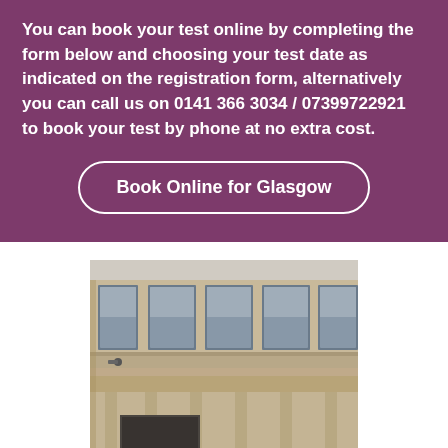You can book your test online by completing the form below and choosing your test date as indicated on the registration form, alternatively you can call us on 0141 366 3034 / 07399722921 to book your test by phone at no extra cost.
Book Online for Glasgow
[Figure (photo): Photograph of a classical stone building facade with large windows and ornate columns, likely the Glasgow test centre.]